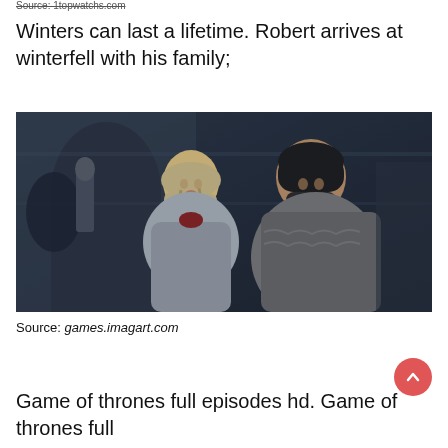Source: 1topwatchs.com
Winters can last a lifetime. Robert arrives at winterfell with his family;
[Figure (photo): Two characters from Game of Thrones — a blonde woman in fur coat and a dark-haired man in fur cloak, standing in a castle courtyard]
Source: games.imagart.com
Game of thrones full episodes hd. Game of thrones full